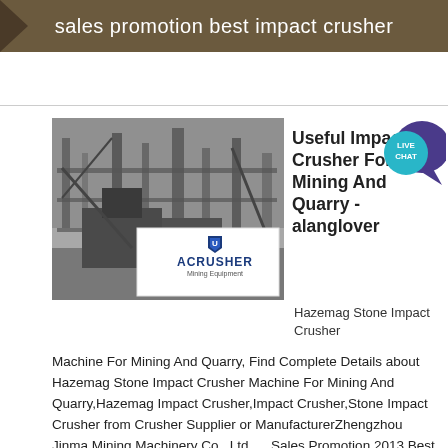sales promotion best impact crusher
[Figure (photo): Industrial mining crusher machinery structure photo with ACRUSHER Mining Equipment logo overlay]
Useful Impact Crusher For Mining And Quarry - alanglover
Hazemag Stone Impact Crusher Machine For Mining And Quarry, Find Complete Details about Hazemag Stone Impact Crusher Machine For Mining And Quarry,Hazemag Impact Crusher,Impact Crusher,Stone Impact Crusher from Crusher Supplier or ManufacturerZhengzhou Jinma Mining Machinery Co., Ltd. ... Sales Promotion 2013 Best Impact Crusher; Safety Rules ...